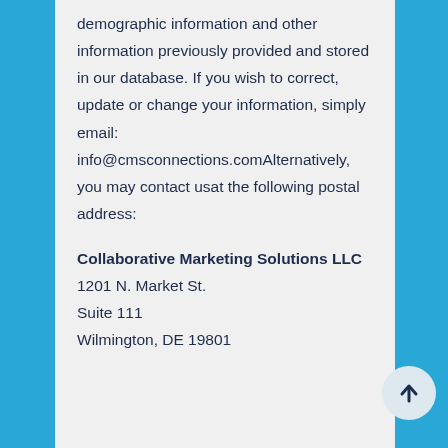demographic information and other information previously provided and stored in our database. If you wish to correct, update or change your information, simply email: info@cmsconnections.comAlternatively, you may contact usat the following postal address:
Collaborative Marketing Solutions LLC
1201 N. Market St.
Suite 111
Wilmington, DE 19801